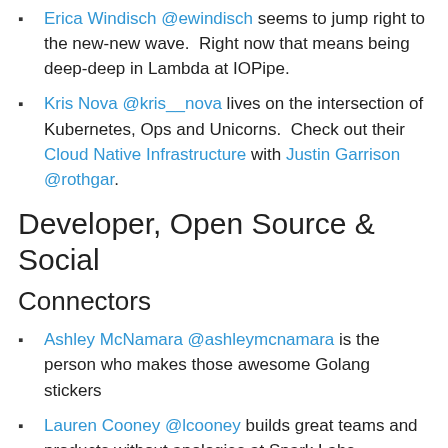Erica Windisch @ewindisch seems to jump right to the new-new wave.  Right now that means being deep-deep in Lambda at IOPipe.
Kris Nova @kris__nova lives on the intersection of Kubernetes, Ops and Unicorns.  Check out their Cloud Native Infrastructure with Justin Garrison @rothgar.
Developer, Open Source & Social
Connectors
Ashley McNamara @ashleymcnamara is the person who makes those awesome Golang stickers
Lauren Cooney @lcooney builds great teams and products without apologies at Spark Labs (@sparklabsco)